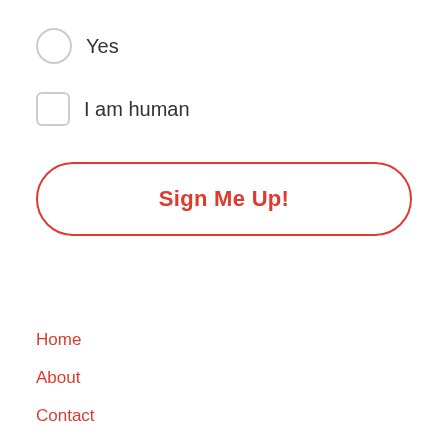Yes
I am human
Sign Me Up!
Home
About
Contact